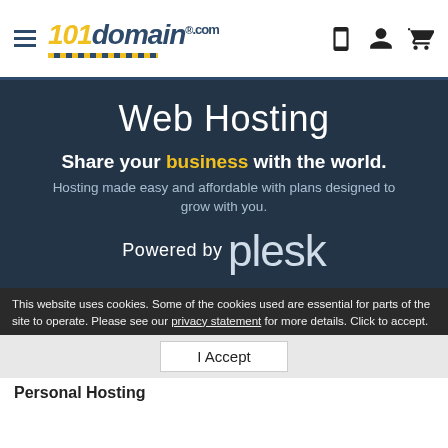101domain.com — navigation header with logo and icons
Web Hosting
Share your business with the world.
Hosting made easy and affordable with plans designed to grow with you.
Powered by plesk
This website uses cookies. Some of the cookies used are essential for parts of the site to operate. Please see our privacy statement for more details. Click to accept.
I Accept
Personal Hosting